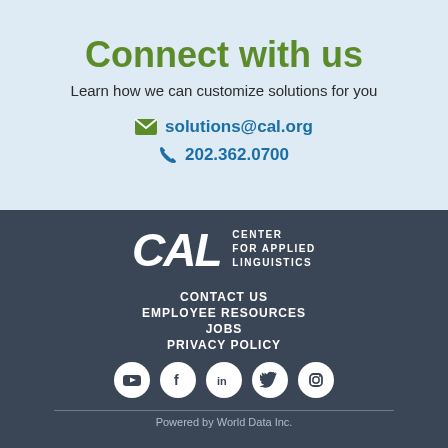Connect with us
Learn how we can customize solutions for you
solutions@cal.org
202.362.0700
[Figure (logo): CAL Center for Applied Linguistics logo in white on dark background]
CONTACT US
EMPLOYEE RESOURCES
JOBS
PRIVACY POLICY
[Figure (infographic): Social media icons row: YouTube, Facebook, LinkedIn, Twitter, Instagram]
Powered by World Data Inc.